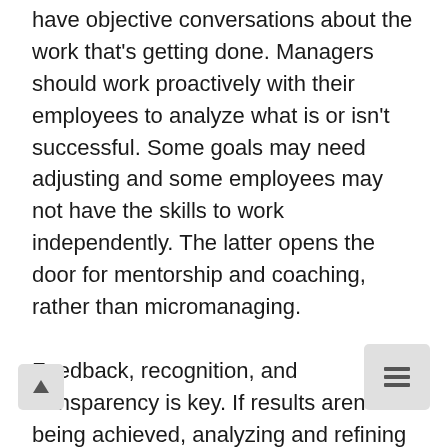have objective conversations about the work that's getting done. Managers should work proactively with their employees to analyze what is or isn't successful. Some goals may need adjusting and some employees may not have the skills to work independently. The latter opens the door for mentorship and coaching, rather than micromanaging.
Feedback, recognition, and transparency is key. If results aren't being achieved, analyzing and refining both sides of the system is necessary. Setting performance goals requires flexibility and tweaking. The process of refining goals expectations doesn't signify failure though –